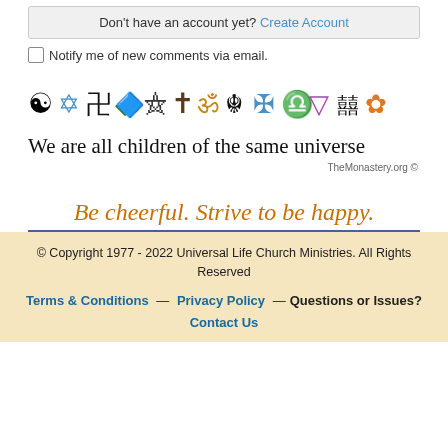Don't have an account yet? Create Account
Notify me of new comments via email.
[Figure (illustration): Row of interfaith religious symbols followed by text 'We are all children of the same universe' and 'TheMonastery.org ©']
Be cheerful. Strive to be happy.
© Copyright 1977 - 2022 Universal Life Church Ministries. All Rights Reserved
Terms & Conditions — Privacy Policy — Questions or Issues? Contact Us